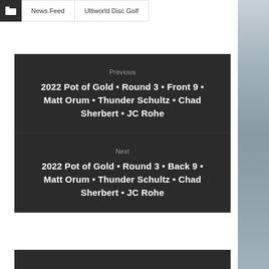News Feed | Ultiworld Disc Golf
Previous
2022 Pot of Gold • Round 3 • Front 9 • Matt Orum • Thunder Schultz • Chad Sherbert • JC Rohe
Next
2022 Pot of Gold • Round 3 • Back 9 • Matt Orum • Thunder Schultz • Chad Sherbert • JC Rohe